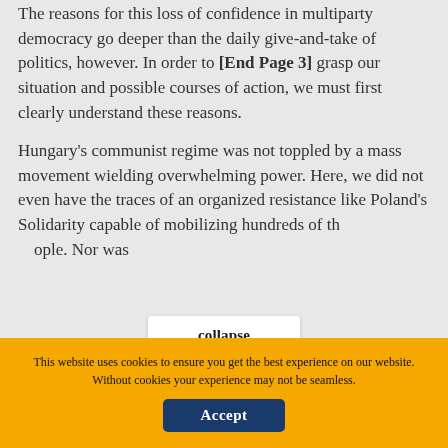The reasons for this loss of confidence in multiparty democracy go deeper than the daily give-and-take of politics, however. In order to [End Page 3] grasp our situation and possible courses of action, we must first clearly understand these reasons.
Hungary's communist regime was not toppled by a mass movement wielding overwhelming power. Here, we did not even have the traces of an organized resistance like Poland's Solidarity capable of mobilizing hundreds of thousands of people. Nor was
collapse
You are not currently authenticated. If you would like to authenticate using a different subscribed institution or
This website uses cookies to ensure you get the best experience on our website. Without cookies your experience may not be seamless.
Accept